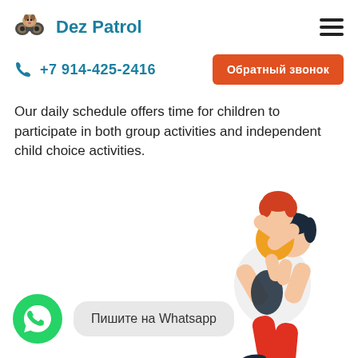Dez Patrol
+7 914-425-2416
Обратный звонок
Our daily schedule offers time for children to participate in both group activities and independent child choice activities.
[Figure (illustration): Illustration of an adult carrying a child on their back, both with simple flat design style. The child has red/orange hair and an orange shirt with arms raised. The adult wears a white shirt and red pants.]
Пишите на Whatsapp